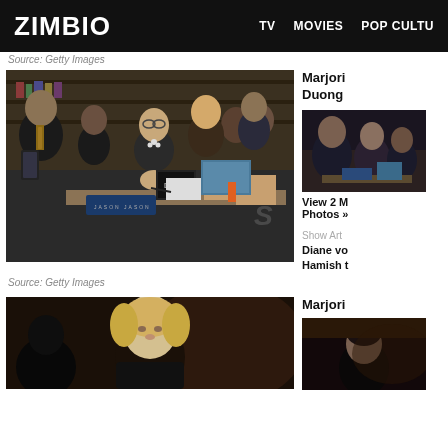ZIMBIO | TV | MOVIES | POP CULTU
Source: Getty Images
[Figure (photo): Group of people looking at items on a table at an event, including a woman signing something, a man in a suit looking at his phone, and others examining artwork and books (including a Dylan book). Event merchandise visible.]
Source: Getty Images
Marjori Duong
[Figure (photo): Thumbnail photo of people at an event]
View 2 More Photos »
Show Art
Diane vo Hamish t
[Figure (photo): Bottom large photo - blonde woman at an event, dark background]
Marjori
[Figure (photo): Bottom right thumbnail - person at event]